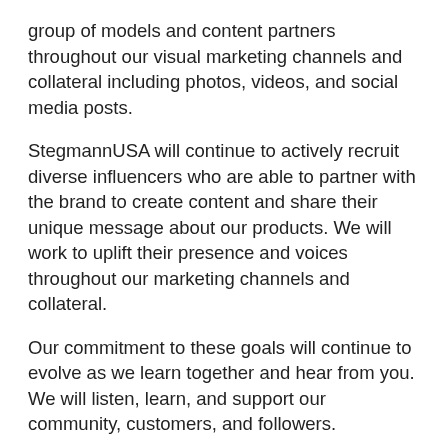group of models and content partners throughout our visual marketing channels and collateral including photos, videos, and social media posts.
StegmannUSA will continue to actively recruit diverse influencers who are able to partner with the brand to create content and share their unique message about our products. We will work to uplift their presence and voices throughout our marketing channels and collateral.
Our commitment to these goals will continue to evolve as we learn together and hear from you. We will listen, learn, and support our community, customers, and followers.
If you are an influencer or know an influencer who is a great fit for our brand, please email hello@sweettalkstrategy.com. We offer commission-based partnerships and other